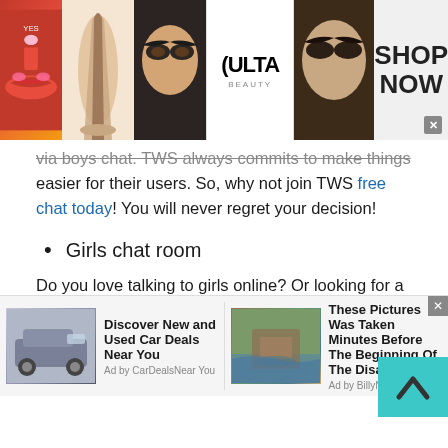[Figure (photo): Advertisement banner for ULTA Beauty showing makeup images (lips, brush, eyes), ULTA Beauty logo, model eye makeup, and SHOP NOW button with close X]
via boys chat. TWS always commits to make things easier for their users. So, why not join TWS free chat today! You will never regret your decision!
Girls chat room
Do you love talking to girls online? Or looking for a great companionship? If it's so then at the Talkwithstranger app you can talk to strangers in Moldova (Republic of) and find your best match.
[Figure (screenshot): Scroll-to-top teal button with up arrow chevron]
[Figure (photo): Bottom advertisement bar with two ads: 'Discover New and Used Car Deals Near You' by CarDealsNearYou and 'These Pictures Was Taken Minutes Before The Beginning Of The Disaster!' by BillyNews]